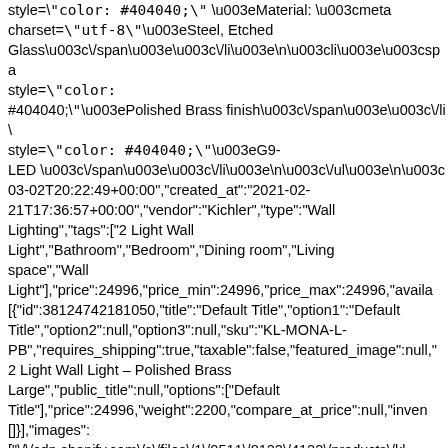style=\"color: #404040;\" \u003eMaterial: \u003cmeta charset=\"utf-8\"\u003eSteel, Etched Glass\u003c\/span\u003e\u003c\/li\u003e\n\u003cli\u003e\u003cspan style=\"color: #404040;\"\u003ePolished Brass finish\u003c\/span\u003e\u003c\/li style=\"color: #404040;\"\u003eG9-LED \u003c\/span\u003e\u003c\/li\u003e\n\u003c\/ul\u003e\n\u003c 03-02T20:22:49+00:00","created_at":"2021-02-21T17:36:57+00:00","vendor":"Kichler","type":"Wall Lighting","tags":["2 Light Wall Light","Bathroom","Bedroom","Dining room","Living space","Wall Light"],"price":24996,"price_min":24996,"price_max":24996,"availa [{"id":38124742181050,"title":"Default Title","option1":"Default Title","option2":null,"option3":null,"sku":"KL-MONA-L-PB","requires_shipping":true,"taxable":false,"featured_image":null," 2 Light Wall Light – Polished Brass Large","public_title":null,"options":["Default Title"],"price":24996,"weight":2200,"compare_at_price":null,"inven []}],"images": ["\/\/cdn.shopify.com\/s\/files\/1\/0511\/8122\/4122\/products\/kl-mona-l-pb.jpg?v=1618342389","\/\/cdn.shopify.com\/s\/files\/1\/0511\/8122\/4122\/p d892-4f7e-af4a-285ed6d85664.jpg?v=1618342392"],"featured_image":"\/\/cdn.shopify.com\/s\/files\/1\/0 mona-l-pb.jpg?v=1618342389"],"options":["Title"],"media"